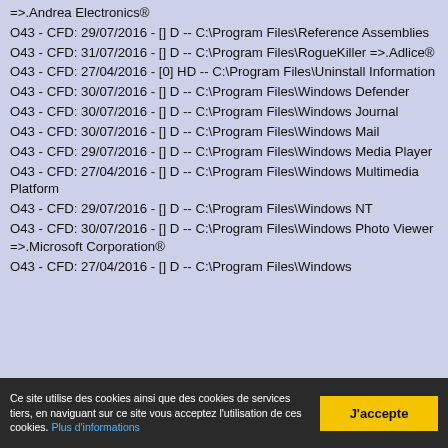=>.Andrea Electronics®
O43 - CFD: 29/07/2016 - [] D -- C:\Program Files\Reference Assemblies
O43 - CFD: 31/07/2016 - [] D -- C:\Program Files\RogueKiller =>.Adlice®
O43 - CFD: 27/04/2016 - [0] HD -- C:\Program Files\Uninstall Information
O43 - CFD: 30/07/2016 - [] D -- C:\Program Files\Windows Defender
O43 - CFD: 30/07/2016 - [] D -- C:\Program Files\Windows Journal
O43 - CFD: 30/07/2016 - [] D -- C:\Program Files\Windows Mail
O43 - CFD: 29/07/2016 - [] D -- C:\Program Files\Windows Media Player
O43 - CFD: 27/04/2016 - [] D -- C:\Program Files\Windows Multimedia Platform
O43 - CFD: 29/07/2016 - [] D -- C:\Program Files\Windows NT
O43 - CFD: 30/07/2016 - [] D -- C:\Program Files\Windows Photo Viewer =>.Microsoft Corporation®
O43 - CFD: 27/04/2016 - [] D -- C:\Program Files\Windows
Ce site utilise des cookies ainsi que des cookies de services tiers, en naviguant sur ce site vous acceptez l'utilisation de ces cookies. Plus d'informations
J'accepte